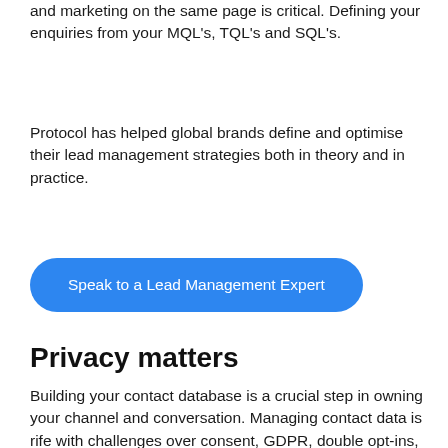and marketing on the same page is critical. Defining your enquiries from your MQL's, TQL's and SQL's.
Protocol has helped global brands define and optimise their lead management strategies both in theory and in practice.
Speak to a Lead Management Expert
Privacy matters
Building your contact database is a crucial step in owning your channel and conversation. Managing contact data is rife with challenges over consent, GDPR, double opt-ins, data use and privacy. Protocol has helped brands...